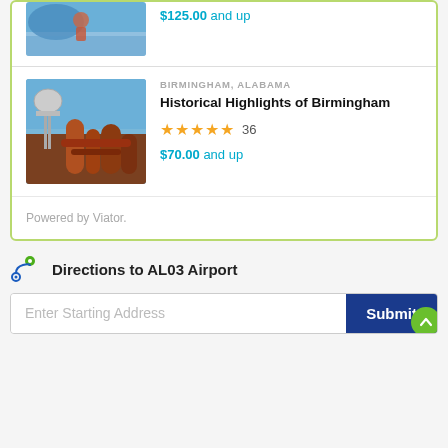[Figure (photo): Partial view of a tour activity photo at top of card]
$125.00 and up
[Figure (photo): Industrial landscape with water tower and rusted pipes in Birmingham, Alabama]
BIRMINGHAM, ALABAMA
Historical Highlights of Birmingham
★★★★★ 36
$70.00 and up
Powered by Viator.
Directions to AL03 Airport
Enter Starting Address
Submit